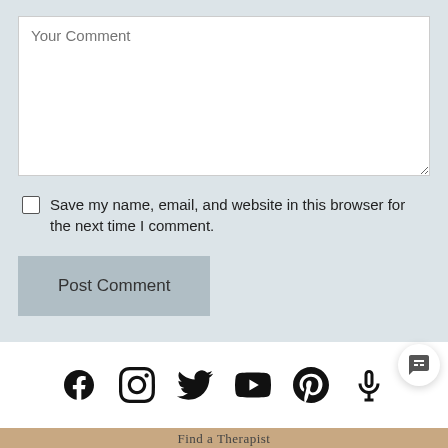Your Comment
Save my name, email, and website in this browser for the next time I comment.
Post Comment
[Figure (other): Social media icons row: Facebook, Instagram, Twitter, YouTube, Pinterest, Microphone/Podcast]
Find a Therapist